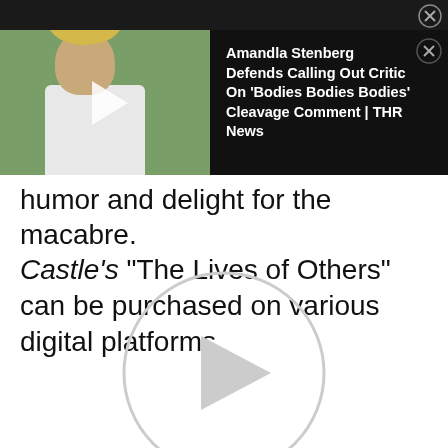[Figure (screenshot): Video ad overlay: thumbnail showing a person with blonde curly hair wearing a white shirt against a green background, with a play button, and dark panel with text 'Amandla Stenberg Defends Calling Out Critic On ‘Bodies Bodies Bodies’ Cleavage Comment | THR News' and a close button]
humor and delight for the macabre.
Castle’s “The Lives of Others” can be purchased on various digital platforms.
[Figure (screenshot): Large circular play button outline with a play triangle inside, light gray color, centered in the lower portion of the page]